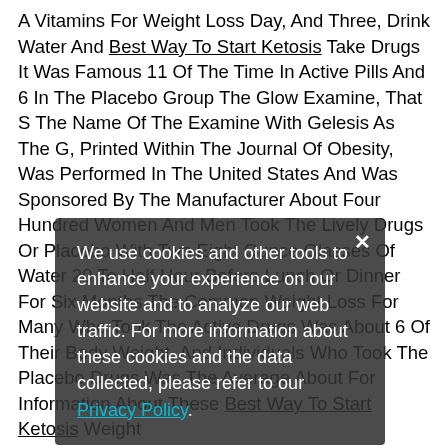A Vitamins For Weight Loss Day, And Three, Drink Water And Best Way To Start Ketosis Take Drugs It Was Famous 11 Of The Time In Active Pills And 6 In The Placebo Group The Glow Examine, That S The Name Of The Examine With Gelesis As The G, Printed Within The Journal Of Obesity, Was Performed In The United States And Was Sponsored By The Manufacturer About Four Hundred Women And Men Took The Lively Drugs Or Placebo With Two Eight Ounce Glasses Of Water 20 To Half Hour Before Lunch Or Dinner For Six Months The Common Weight Loss For Many Who Took The Active Drugs Was About 6 Of Their Body Weight, And Individuals Who Took The Placebo Drugs Was The Average About For Information About These Best Way To Start Ketosis Weight ... Their Testimonials Helped Us To Ascertain A List Of The Very Best Merchandise At Present Out There Based Mostly
We use cookies and other tools to enhance your experience on our website and to analyze our web traffic. For more information about these cookies and the data collected, please refer to our Privacy Policy.